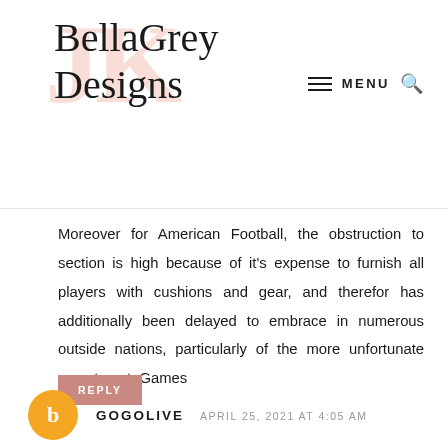BellaGrey Designs — MENU navigation
Moreover for American Football, the obstruction to section is high because of it's expense to furnish all players with cushions and gear, and therefor has additionally been delayed to embrace in numerous outside nations, particularly of the more unfortunate assortment. Games
REPLY
GOGOLIVE   APRIL 25, 2021 AT 4:05 AM